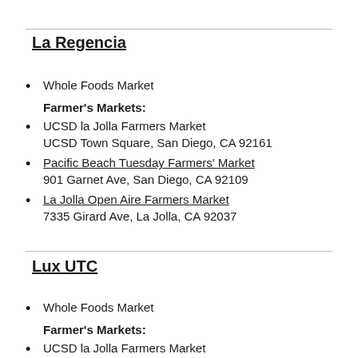La Regencia
Whole Foods Market
Farmer's Markets:
UCSD la Jolla Farmers Market
UCSD Town Square, San Diego, CA 92161
Pacific Beach Tuesday Farmers' Market
901 Garnet Ave, San Diego, CA 92109
La Jolla Open Aire Farmers Market
7335 Girard Ave, La Jolla, CA 92037
Lux UTC
Whole Foods Market
Farmer's Markets:
UCSD la Jolla Farmers Market